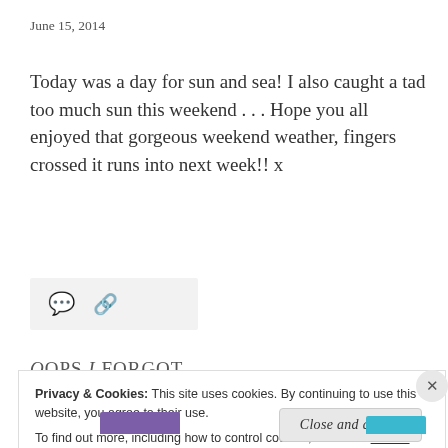June 15, 2014
Today was a day for sun and sea! I also caught a tad too much sun this weekend . . . Hope you all enjoyed that gorgeous weekend weather, fingers crossed it runs into next week!! x
[Figure (other): Icons bar with comment bubble and link/share icon on light grey background]
Oops I Forgot
Privacy & Cookies: This site uses cookies. By continuing to use this website, you agree to their use.
To find out more, including how to control cookies, see here: Cookie Policy
Close and accept